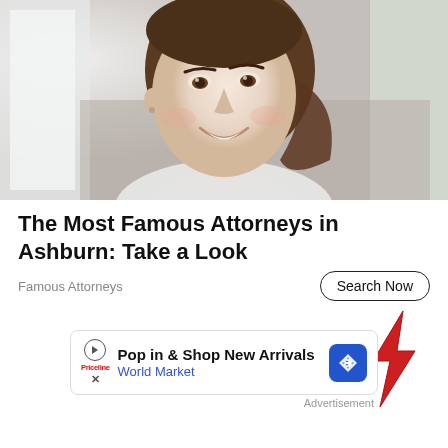[Figure (photo): Portrait of a smiling young woman with brown hair pulled back, wearing a white top, photographed near a bright window.]
The Most Famous Attorneys in Ashburn: Take a Look
Famous Attorneys
[Figure (other): Search Now button with rounded border]
[Figure (other): Red lightning bolt icon in lower right area]
[Figure (other): Advertisement banner: Play button, Priceline logo, text 'Pop in & Shop New Arrivals', 'World Market', blue diamond navigation icon, X close button]